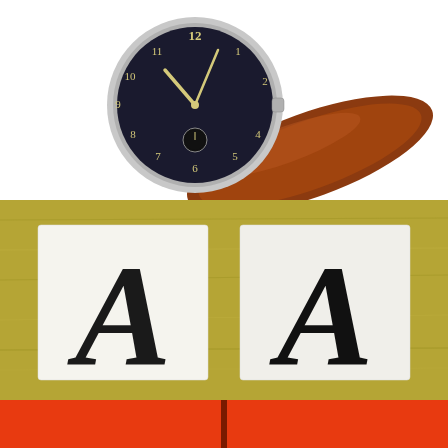[Figure (photo): A vintage wristwatch with a black dial showing Roman and Arabic numerals, silver case, and brown leather strap, photographed on a white background.]
[Figure (photo): Two white cards each displaying a large decorative black letter 'A' in a curly/script style, placed on a golden/olive wood surface.]
[Figure (photo): Bottom strip showing an orange-red surface with a dark vertical dividing line.]